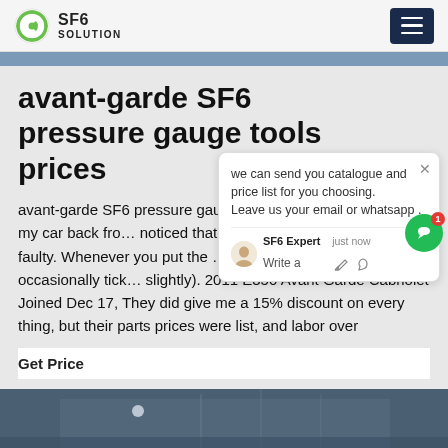SF6 SOLUTION
avant-garde SF6 pressure gauge tools prices
avant-garde SF6 pressure gauge to... g 04, 2011When I got my car back fro... noticed that the oil pressure gauge w... s if faulty. Whenever you put the ... i... gauge sits at 0 and occasionally tick... slightly). 2011 E350 Avant Garde Cabriolet Joined Dec 17, They did give me a 15% discount on every thing, but their parts prices were list, and labor over
Get Price
[Figure (photo): Bottom portion of a building exterior, dark blue-grey tones, architectural photo]